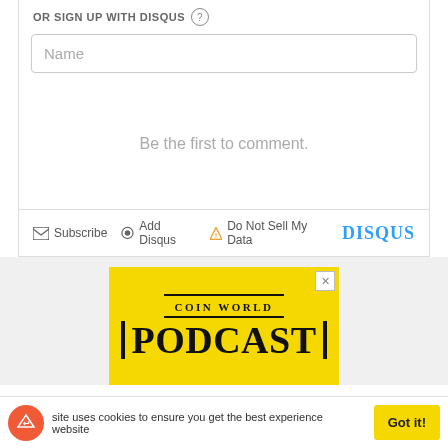OR SIGN UP WITH DISQUS ?
Name
Be the first to comment.
Subscribe   Add Disqus   Do Not Sell My Data   DISQUS
[Figure (screenshot): Coin World Podcast advertisement banner on yellow background]
site uses cookies to ensure you get the best experience website
Got it!